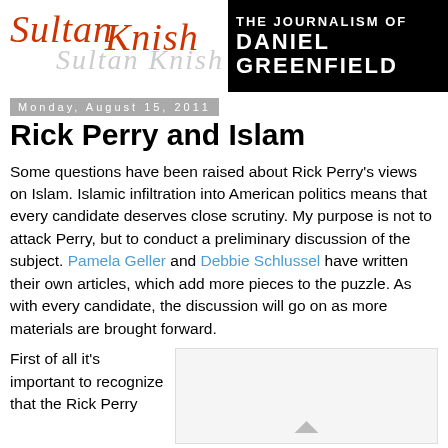Sultan Knish - The Journalism of Daniel Greenfield
Monday, August 15, 2011
Rick Perry and Islam
Some questions have been raised about Rick Perry's views on Islam. Islamic infiltration into American politics means that every candidate deserves close scrutiny. My purpose is not to attack Perry, but to conduct a preliminary discussion of the subject. Pamela Geller and Debbie Schlussel have written their own articles, which add more pieces to the puzzle. As with every candidate, the discussion will go on as more materials are brought forward.
First of all it's important to recognize that the Rick Perry
[Figure (other): Partially visible image box on the right side, showing a grey/white area with a small upward arrow icon at the bottom center]